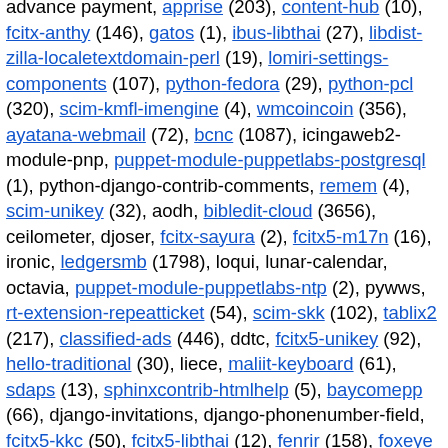advance payment, apprise (203), content-hub (10), fcitx-anthy (146), gatos (1), ibus-libthai (27), libdist-zilla-localetextdomain-perl (19), lomiri-settings-components (107), python-fedora (29), python-pcl (320), scim-kmfl-imengine (4), wmcoincoin (356), ayatana-webmail (72), bcnc (1087), icingaweb2-module-pnp, puppet-module-puppetlabs-postgresql (1), python-django-contrib-comments, remem (4), scim-unikey (32), aodh, bibledit-cloud (3656), ceilometer, djoser, fcitx-sayura (2), fcitx5-m17n (16), ironic, ledgersmb (1798), loqui, lunar-calendar, octavia, puppet-module-puppetlabs-ntp (2), pywws, rt-extension-repeatticket (54), scim-skk (102), tablix2 (217), classified-ads (446), ddtc, fcitx5-unikey (92), hello-traditional (30), liece, maliit-keyboard (61), sdaps (13), sphinxcontrib-htmlhelp (5), baycomepp (66), django-invitations, django-phonenumber-field, fcitx5-kkc (50), fcitx5-libthai (12), fenrir (158), foxeye (208), icingaweb2-module-map, libime-jyutping (7), magnum-ui, murano, neutron-vpnaas-dashboard, python-django-parler, rabbiter, scim-thai (16), sphinxcontrib-